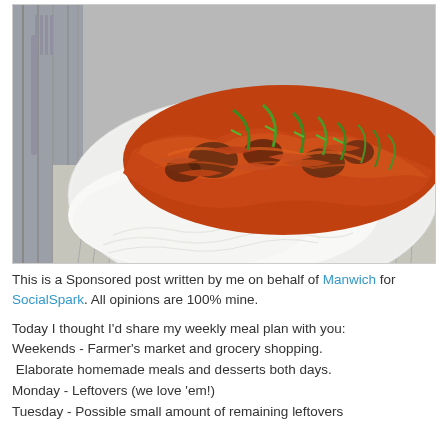[Figure (photo): A plate of white rice topped with a saucy red/orange stir-fry dish with mushrooms and other ingredients, garnished with sliced green onions. A fork is visible to the left, and the plate sits on a light cloth on a wooden surface.]
This is a Sponsored post written by me on behalf of Manwich for SocialSpark. All opinions are 100% mine.
Today I thought I'd share my weekly meal plan with you: Weekends - Farmer's market and grocery shopping.  Elaborate homemade meals and desserts both days. Monday - Leftovers (we love 'em!) Tuesday - Possible small amount of remaining leftovers